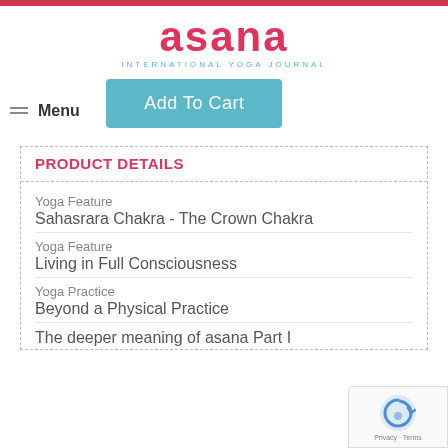asana INTERNATIONAL YOGA JOURNAL
Menu
Add To Cart
PRODUCT DETAILS
Yoga Feature
Sahasrara Chakra - The Crown Chakra
Yoga Feature
Living in Full Consciousness
Yoga Practice
Beyond a Physical Practice
The deeper meaning of asana Part I